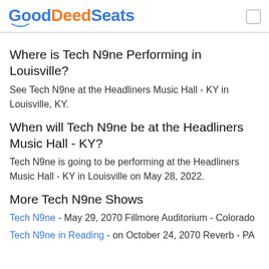GoodDeedSeats
Where is Tech N9ne Performing in Louisville?
See Tech N9ne at the Headliners Music Hall - KY in Louisville, KY.
When will Tech N9ne be at the Headliners Music Hall - KY?
Tech N9ne is going to be performing at the Headliners Music Hall - KY in Louisville on May 28, 2022.
More Tech N9ne Shows
Tech N9ne - May 29, 2070 Fillmore Auditorium - Colorado
Tech N9ne in Reading - on October 24, 2070 Reverb - PA